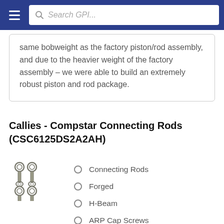Search GPI...
same bobweight as the factory piston/rod assembly, and due to the heavier weight of the factory assembly – we were able to build an extremely robust piston and rod package.
Callies - Compstar Connecting Rods (CSC6125DS2A2AH)
[Figure (photo): Photo of Callies Compstar connecting rods, showing 4 H-beam connecting rods arranged in two rows]
Connecting Rods
Forged
H-Beam
ARP Cap Screws
Bushed Pin